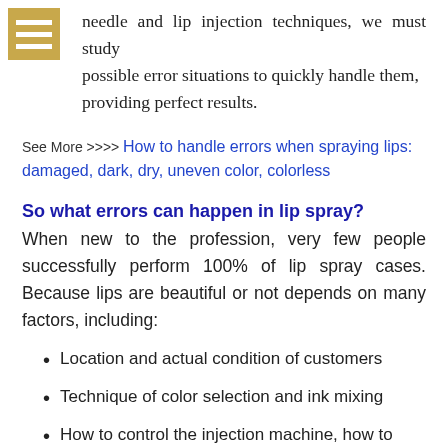needle and lip injection techniques, we must study possible error situations to quickly handle them, providing perfect results.
See More >>>> How to handle errors when spraying lips: damaged, dark, dry, uneven color, colorless
So what errors can happen in lip spray?
When new to the profession, very few people successfully perform 100% of lip spray cases. Because lips are beautiful or not depends on many factors, including:
Location and actual condition of customers
Technique of color selection and ink mixing
How to control the injection machine, how to align the force of the needle
Post-spraying care of the worker